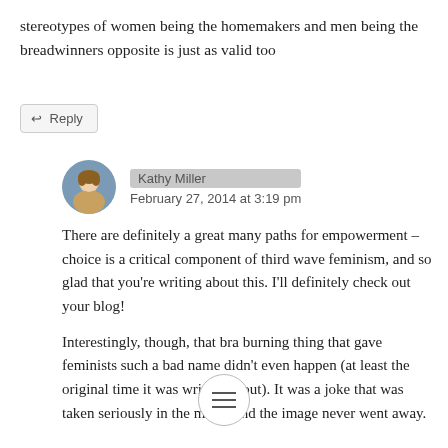stereotypes of women being the homemakers and men being the breadwinners opposite is just as valid too
↩ Reply
Kathy Miller
February 27, 2014 at 3:19 pm
There are definitely a great many paths for empowerment – choice is a critical component of third wave feminism, and so glad that you're writing about this. I'll definitely check out your blog!
Interestingly, though, that bra burning thing that gave feminists such a bad name didn't even happen (at least the original time it was written about). It was a joke that was taken seriously in the media and the image never went away.